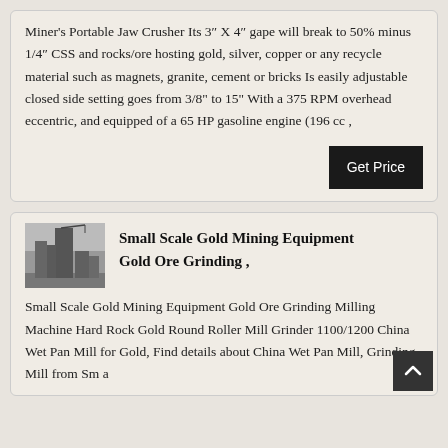Miner's Portable Jaw Crusher Its 3" X 4" gape will break to 50% minus 1/4" CSS and rocks/ore hosting gold, silver, copper or any recycle material such as magnets, granite, cement or bricks Is easily adjustable closed side setting goes from 3/8" to 15" With a 375 RPM overhead eccentric, and equipped of a 65 HP gasoline engine (196 cc ,
Small Scale Gold Mining Equipment Gold Ore Grinding ,
Small Scale Gold Mining Equipment Gold Ore Grinding Milling Machine Hard Rock Gold Round Roller Mill Grinder 1100/1200 China Wet Pan Mill for Gold, Find details about China Wet Pan Mill, Grinding Mill from Sma Scale Gold Mining Equipment Gold Ore Grinding Milli